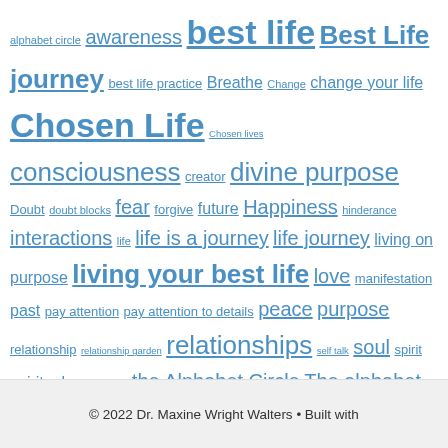alphabet circle awareness best life Best Life journey best life practice Breathe Change change your life Chosen Life Chosen lives consciousness creator divine purpose Doubt doubt blocks fear forgive future Happiness hinderance interactions life life is a journey life journey living on purpose living your best life love manifestation past pay attention pay attention to details peace purpose relationship relationship garden relationships self talk soul spirit spiritual success the Alphabet Circle The alphabet circle journey universe your purpose
© 2022 Dr. Maxine Wright Walters • Built with